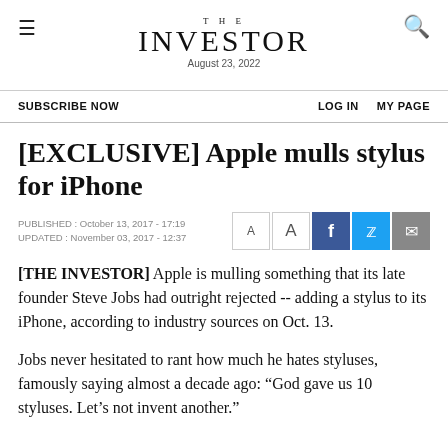THE INVESTOR
August 23, 2022
SUBSCRIBE NOW    LOG IN    MY PAGE
[EXCLUSIVE] Apple mulls stylus for iPhone
PUBLISHED : October 13, 2017 - 17:19
UPDATED : November 03, 2017 - 12:37
[THE INVESTOR] Apple is mulling something that its late founder Steve Jobs had outright rejected -- adding a stylus to its iPhone, according to industry sources on Oct. 13.
Jobs never hesitated to rant how much he hates styluses, famously saying almost a decade ago: “God gave us 10 styluses. Let’s not invent another.”